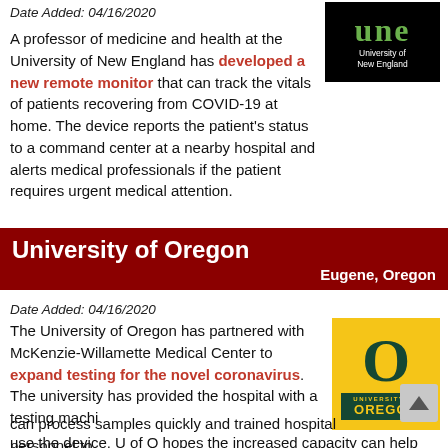Date Added: 04/16/2020
[Figure (logo): University of New England logo: black background with green stylized 'une' text and white 'University of New England' text below]
A professor of medicine and health at the University of New England has developed a new remote monitor that can track the vitals of patients recovering from COVID-19 at home. The device reports the patient's status to a command center at a nearby hospital and alerts medical professionals if the patient requires urgent medical attention.
University of Oregon Eugene, Oregon
Date Added: 04/16/2020
[Figure (logo): University of Oregon logo: yellow background with dark green O and University of Oregon wordmark]
The University of Oregon has partnered with McKenzie-Willamette Medical Center to expand testing for the novel coronavirus. The university has provided the hospital with a testing machine that can process samples quickly and trained hospital personnel to use the device. U of O hopes the increased capacity can help